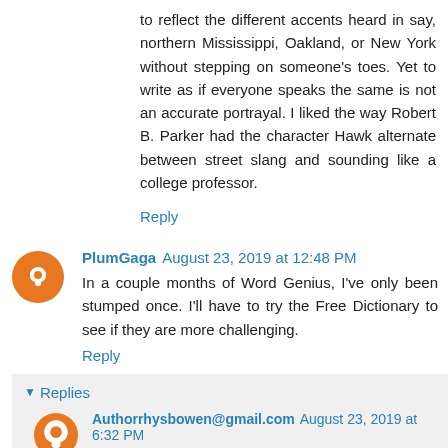to reflect the different accents heard in say, northern Mississippi, Oakland, or New York without stepping on someone's toes. Yet to write as if everyone speaks the same is not an accurate portrayal. I liked the way Robert B. Parker had the character Hawk alternate between street slang and sounding like a college professor.
Reply
PlumGaga August 23, 2019 at 12:48 PM
In a couple months of Word Genius, I've only been stumped once. I'll have to try the Free Dictionary to see if they are more challenging.
Reply
Replies
Authorrhysbowen@gmail.com August 23, 2019 at 6:32 PM
I'm impressed!